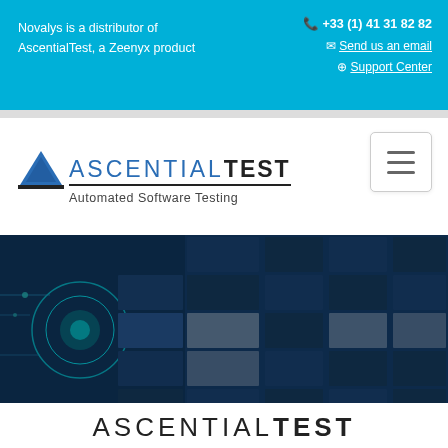Novalys is a distributor of AscentialTest, a Zeenyx product | +33 (1) 41 31 82 82 | Send us an email | Support Center
[Figure (logo): AscentialTest logo with blue triangle/mountain icon, ASCENTIALTEST wordmark in mixed blue and black, tagline 'Automated Software Testing']
[Figure (photo): Hero banner image showing dark blue tech background with glowing circuit/gear patterns on left, overlaid with a grid of dark blue rectangular tiles creating a mosaic effect]
ASCENTIALTEST